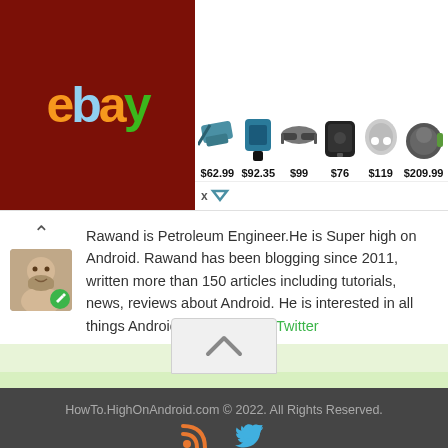[Figure (screenshot): eBay advertisement banner showing products with prices: $62.99 (power tool), $92.35 (drill kit), $99 (sunglasses), $76 (speaker), $119 (wireless earbuds), $209.99 (smart speaker)]
Rawand is Petroleum Engineer.He is Super high on Android. Rawand has been blogging since 2011, written more than 150 articles including tutorials, news, reviews about Android. He is interested in all things Android. Follow Me on Twitter
[Figure (other): Scroll to top button with upward arrow chevron on light grey background]
HowTo.HighOnAndroid.com © 2022. All Rights Reserved. Powered by WordPress. Theme by alxmedia.se.